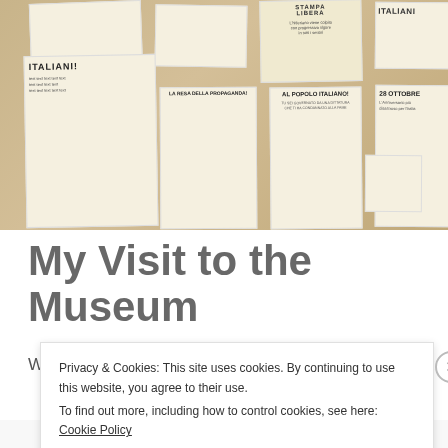[Figure (photo): Museum display board with various historical Italian WWII-era pamphlets and newspapers pinned to a wooden surface. Visible text on documents includes 'ITALIANI!', 'STAMPA LIBERA', 'AL POPOLO ITALIANO!', '28 OTTOBRE', and other Italian language texts.]
My Visit to the Museum
W... t
Privacy & Cookies: This site uses cookies. By continuing to use this website, you agree to their use.
To find out more, including how to control cookies, see here: Cookie Policy
Close and accept